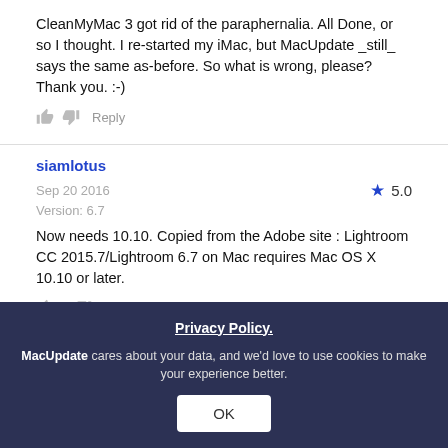CleanMyMac 3 got rid of the paraphernalia. All Done, or so I thought. I re-started my iMac, but MacUpdate _still_ says the same as-before. So what is wrong, please? Thank you. :-)
siamlotus
Sep 20 2016   ★ 5.0
Version: 6.7
Now needs 10.10. Copied from the Adobe site : Lightroom CC 2015.7/Lightroom 6.7 on Mac requires Mac OS X 10.10 or later.
1 Comments ▼
Privacy Policy.
MacUpdate cares about your data, and we'd love to use cookies to make your experience better.
OK